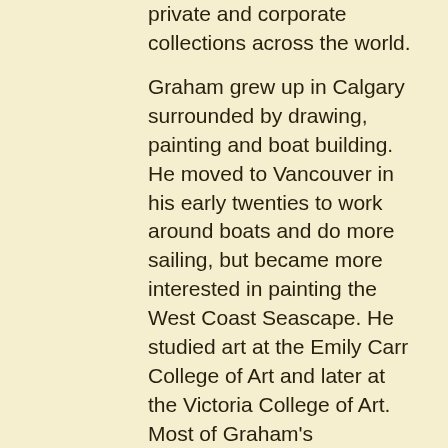private and corporate collections across the world.

Graham grew up in Calgary surrounded by drawing, painting and boat building. He moved to Vancouver in his early twenties to work around boats and do more sailing, but became more interested in painting the West Coast Seascape. He studied art at the Emily Carr College of Art and later at the Victoria College of Art. Most of Graham's techniques however have resulted from years of experimentation and innovation.